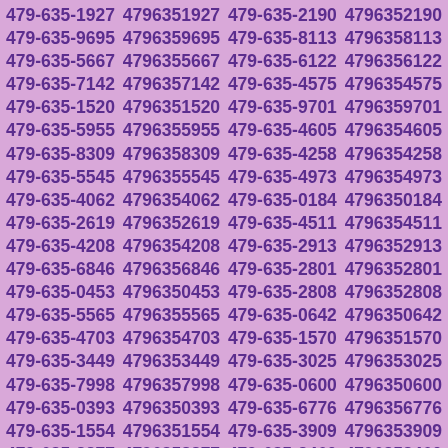479-635-1927 4796351927 479-635-2190 4796352190 479-635-9695 4796359695 479-635-8113 4796358113 479-635-5667 4796355667 479-635-6122 4796356122 479-635-7142 4796357142 479-635-4575 4796354575 479-635-1520 4796351520 479-635-9701 4796359701 479-635-5955 4796355955 479-635-4605 4796354605 479-635-8309 4796358309 479-635-4258 4796354258 479-635-5545 4796355545 479-635-4973 4796354973 479-635-4062 4796354062 479-635-0184 4796350184 479-635-2619 4796352619 479-635-4511 4796354511 479-635-4208 4796354208 479-635-2913 4796352913 479-635-6846 4796356846 479-635-2801 4796352801 479-635-0453 4796350453 479-635-2808 4796352808 479-635-5565 4796355565 479-635-0642 4796350642 479-635-4703 4796354703 479-635-1570 4796351570 479-635-3449 4796353449 479-635-3025 4796353025 479-635-7998 4796357998 479-635-0600 4796350600 479-635-0393 4796350393 479-635-6776 4796356776 479-635-1554 4796351554 479-635-3909 4796353909 479-635-8877 4796358877 479-635-2460 4796352460 479-635-1076 4796351076 479-635-2082 4796352082